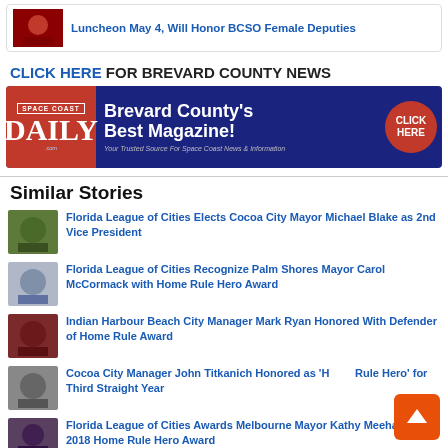Luncheon May 4, Will Honor BCSO Female Deputies
CLICK HERE FOR BREVARD COUNTY NEWS
[Figure (illustration): Space Coast Daily advertisement banner: 'Brevard County's Best Magazine! Your Trusted Source For Space Coast News & Information' with a CLICK HERE button]
Similar Stories
Florida League of Cities Elects Cocoa City Mayor Michael Blake as 2nd Vice President
Florida League of Cities Recognize Palm Shores Mayor Carol McCormack with Home Rule Hero Award
Indian Harbour Beach City Manager Mark Ryan Honored With Defender of Home Rule Award
Cocoa City Manager John Titkanich Honored as 'Home Rule Hero' for Third Straight Year
Florida League of Cities Awards Melbourne Mayor Kathy Meehan a 2018 Home Rule Hero Award